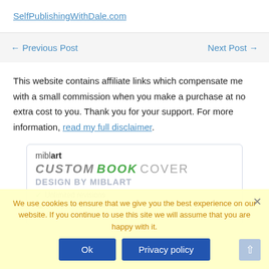SelfPublishingWithDale.com
← Previous Post    Next Post →
This website contains affiliate links which compensate me with a small commission when you make a purchase at no extra cost to you. Thank you for your support. For more information, read my full disclaimer.
[Figure (other): miblart Custom Book Cover Design by miblart advertisement with features: Unlimited revisions, 5 days turnaround, and another feature partially visible]
We use cookies to ensure that we give you the best experience on our website. If you continue to use this site we will assume that you are happy with it. Ok  Privacy policy